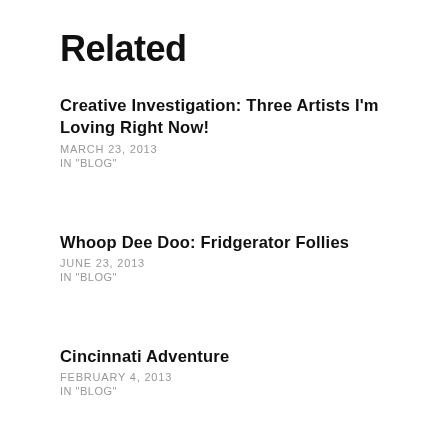Related
Creative Investigation: Three Artists I'm Loving Right Now!
MARCH 23, 2013
IN "BLOG"
Whoop Dee Doo: Fridgerator Follies
JUNE 23, 2013
IN "BLOG"
Cincinnati Adventure
FEBRUARY 4, 2013
IN "BLOG"